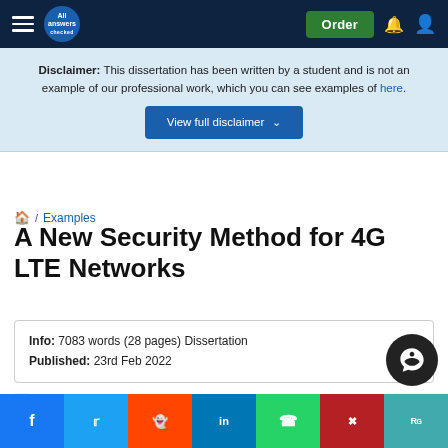All Answers — Order
Disclaimer: This dissertation has been written by a student and is not an example of our professional work, which you can see examples of here.
View full disclaimer
/ Examples
A New Security Method for 4G LTE Networks
Info: 7083 words (28 pages) Dissertation
Published: 23rd Feb 2022
Reference this
Tagged: Communications Information Technology